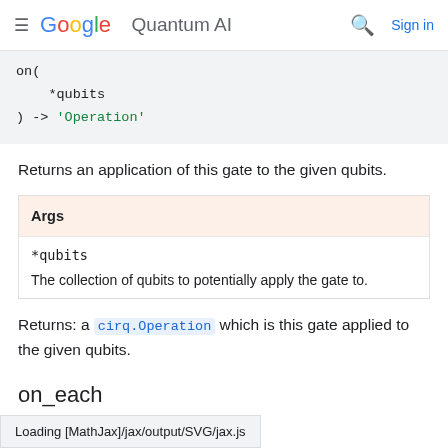≡ Google Quantum AI  🔍  Sign in
on(
    *qubits
) -> 'Operation'
Returns an application of this gate to the given qubits.
| Args |
| --- |
| *qubits | The collection of qubits to potentially apply the gate to. |
Returns: a cirq.Operation which is this gate applied to the given qubits.
on_each
Loading [MathJax]/jax/output/SVG/jax.js